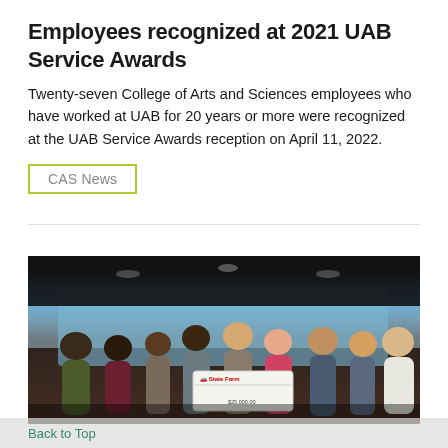Employees recognized at 2021 UAB Service Awards
Twenty-seven College of Arts and Sciences employees who have worked at UAB for 20 years or more were recognized at the UAB Service Awards reception on April 11, 2022.
CAS News
[Figure (photo): Group photo of people in a darkened room with large curved display screens showing a daytime landscape. Central figures hold a large State Farm ceremonial check. Attendees are wearing name badges.]
Back to Top